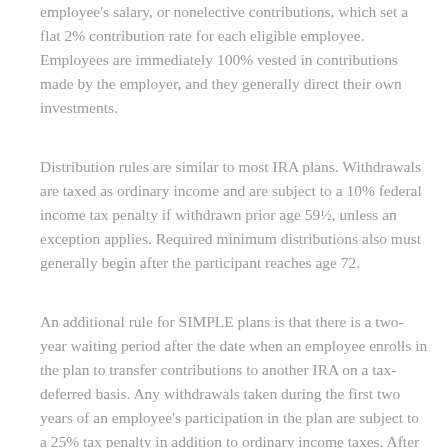employee's salary, or nonelective contributions, which set a flat 2% contribution rate for each eligible employee. Employees are immediately 100% vested in contributions made by the employer, and they generally direct their own investments.
Distribution rules are similar to most IRA plans. Withdrawals are taxed as ordinary income and are subject to a 10% federal income tax penalty if withdrawn prior age 59½, unless an exception applies. Required minimum distributions also must generally begin after the participant reaches age 72.
An additional rule for SIMPLE plans is that there is a two-year waiting period after the date when an employee enrolls in the plan to transfer contributions to another IRA on a tax-deferred basis. Any withdrawals taken during the first two years of an employee's participation in the plan are subject to a 25% tax penalty in addition to ordinary income taxes. After the first two years, early withdrawals are generally subject to the 10% early withdrawal